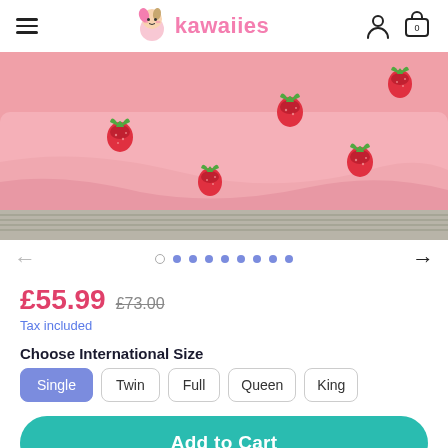kawaiies — navigation header with hamburger menu, logo, user icon, and cart (0)
[Figure (photo): Pink strawberry-patterned bed sheet/comforter product photo showing pink fabric with red strawberry prints on a striped surface]
£55.99  £73.00
Tax included
Choose International Size
Single (selected)
Twin
Full
Queen
King
Add to Cart